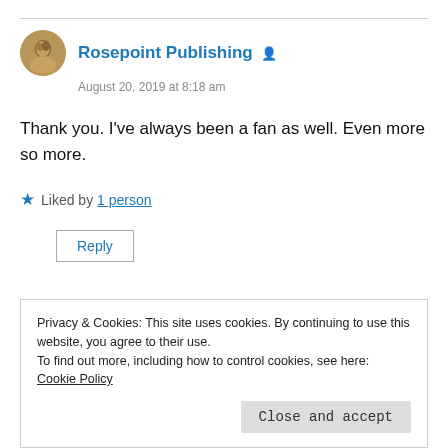Rosepoint Publishing
August 20, 2019 at 8:18 am
Thank you. I've always been a fan as well. Even more so more.
Liked by 1 person
Reply
Privacy & Cookies: This site uses cookies. By continuing to use this website, you agree to their use.
To find out more, including how to control cookies, see here: Cookie Policy
Close and accept